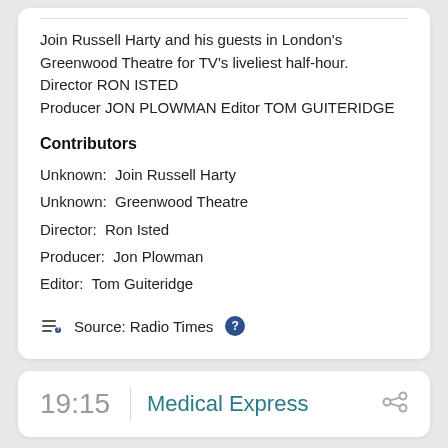Join Russell Harty and his guests in London's Greenwood Theatre for TV's liveliest half-hour. Director RON ISTED Producer JON PLOWMAN Editor TOM GUITERIDGE
Contributors
Unknown:  Join Russell Harty
Unknown:  Greenwood Theatre
Director:  Ron Isted
Producer:  Jon Plowman
Editor:  Tom Guiteridge
Source: Radio Times
19:15
Medical Express